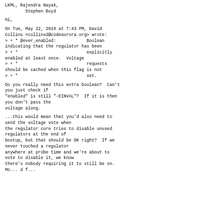LKML, Rajendra Nayak,
        Stephen Boyd
Hi,
On Tue, May 22, 2018 at 7:43 PM, David
Collins <collinsd@codeaurora.org> wrote:
> + * @ever_enabled:            Boolean
indicating that the regulator has been
> + *                           explicitly
enabled at least once.  Voltage
> + *                           requests
should be cached when this flag is not
> + *                           set.
Do you really need this extra boolean?  Can't
you just check if
"enabled" is still "-EINVAL"?  If it is then
you don't pass the
voltage along.
...this would mean that you'd also need to
send the voltage vote when
the regulator core tries to disable unused
regulators at the end of
bootup, but that should be OK right?  If we
never touched a regulator
anywhere at probe time and we're about to
vote to disable it, we know
there's nobody requiring it to still be on.
Mo... d f...